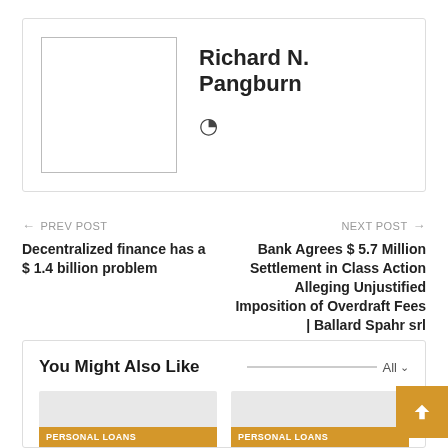[Figure (other): Author profile card with avatar placeholder box and name 'Richard N. Pangburn' with a small globe/location icon]
Richard N. Pangburn
← PREV POST
Decentralized finance has a $ 1.4 billion problem
NEXT POST →
Bank Agrees $ 5.7 Million Settlement in Class Action Alleging Unjustified Imposition of Overdraft Fees | Ballard Spahr srl
You Might Also Like
PERSONAL LOANS
PERSONAL LOANS